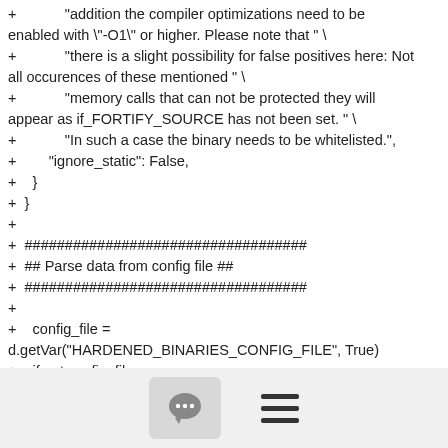+            "addition the compiler optimizations need to be enabled with \"-O1\" or higher. Please note that " \
+            "there is a slight possibility for false positives here: Not all occurences of these mentioned " \
+            "memory calls that can not be protected they will appear as if_FORTIFY_SOURCE has not been set. " \
+            "In such a case the binary needs to be whitelisted.",
+        "ignore_static": False,
+    }
+  }
+
+  ###################################
+  ## Parse data from config file ##
+  ###################################
+
+    config_file =
    d.getVar("HARDENED_BINARIES_CONFIG_FILE", True)
+    if not config_file:
+        msg = "Hardend Binary Check: No config file specifed.
[Figure (infographic): Toolbar with a comment bubble button and a hamburger menu icon]